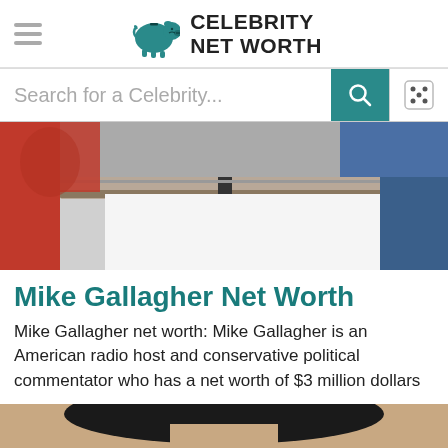Celebrity Net Worth
[Figure (screenshot): Search bar with teal search button and dice icon button]
[Figure (photo): Partial photo showing what appears to be a microphone or audio equipment on a stand, with red and blue background elements]
Mike Gallagher Net Worth
Mike Gallagher net worth: Mike Gallagher is an American radio host and conservative political commentator who has a net worth of $3 million dollars
[Figure (photo): Bottom portion of a photo showing the top of a person's head with dark hair against a white background]